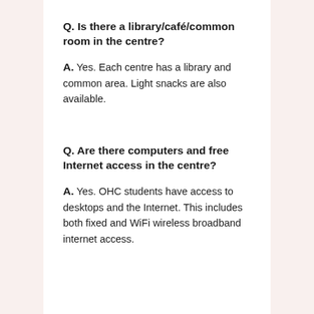Q. Is there a library/café/common room in the centre?
A. Yes. Each centre has a library and common area. Light snacks are also available.
Q. Are there computers and free Internet access in the centre?
A. Yes. OHC students have access to desktops and the Internet. This includes both fixed and WiFi wireless broadband internet access.